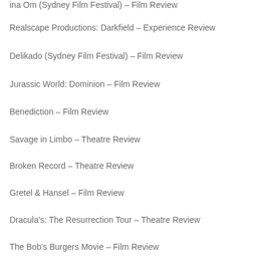ina Om (Sydney Film Festival) – Film Review
Realscape Productions: Darkfield – Experience Review
Delikado (Sydney Film Festival) – Film Review
Jurassic World: Dominion – Film Review
Benediction – Film Review
Savage in Limbo – Theatre Review
Broken Record – Theatre Review
Gretel & Hansel – Film Review
Dracula's: The Resurrection Tour – Theatre Review
The Bob's Burgers Movie – Film Review